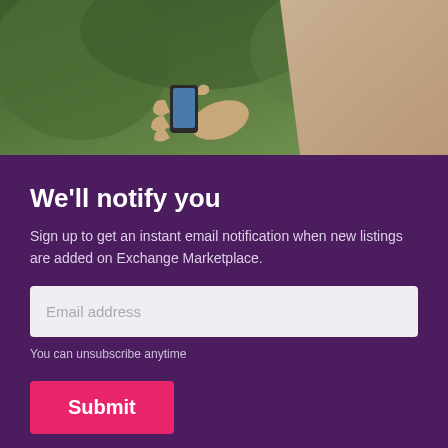[Figure (photo): Person holding a smartphone outdoors with green foliage in background]
We'll notify you
Sign up to get an instant email notification when new listings are added on Exchange Marketplace.
Email address
You can unsubscribe anytime
Submit
$50
Contact Seller